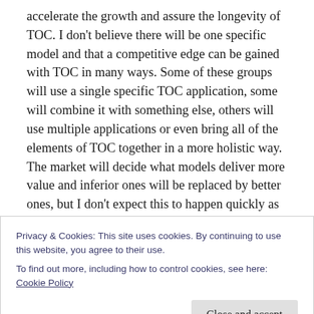accelerate the growth and assure the longevity of TOC. I don't believe there will be one specific model and that a competitive edge can be gained with TOC in many ways. Some of these groups will use a single specific TOC application, some will combine it with something else, others will use multiple applications or even bring all of the elements of TOC together in a more holistic way. The market will decide what models deliver more value and inferior ones will be replaced by better ones, but I don't expect this to happen quickly as even “inferior” TOC-based solutions tend to be more effective than conventional ones.
Privacy & Cookies: This site uses cookies. By continuing to use this website, you agree to their use.
To find out more, including how to control cookies, see here: Cookie Policy
Close and accept
know what to Google to learn more. I personally